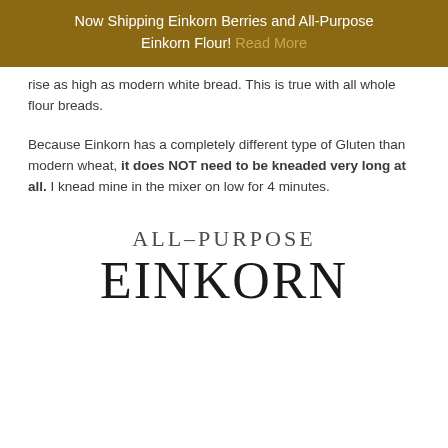Now Shipping Einkorn Berries and All-Purpose Einkorn Flour! Read More
rise as high as modern white bread. This is true with all whole flour breads.
Because Einkorn has a completely different type of Gluten than modern wheat, it does NOT need to be kneaded very long at all. I knead mine in the mixer on low for 4 minutes.
ALL-PURPOSE EINKORN